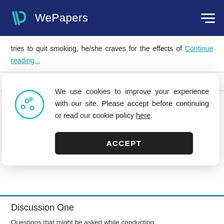WePapers
tries to quit smoking, he/she craves for the effects of Continue reading...
heroin drug abuse smoking body
[Figure (screenshot): Cookie consent dialog with cookie icon, text about cookies improving experience, a link to cookie policy, and an ACCEPT button]
Discussion One
Questions that might be asked while conducting